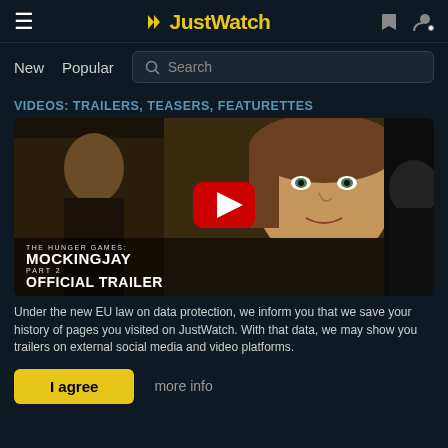JustWatch
New   Popular   Search
VIDEOS: TRAILERS, TEASERS, FEATURETTES
[Figure (screenshot): Video thumbnail for The Hunger Games: Mockingjay Part 2 Official Trailer with a YouTube-style red play button overlay. Shows two actors in dark armor/military gear. Lower-left text reads 'THE HUNGER GAMES: MOCKINGJAY PART 2 OFFICIAL TRAILER'.]
Under the new EU law on data protection, we inform you that we save your history of pages you visited on JustWatch. With that data, we may show you trailers on external social media and video platforms.
I agree   more info